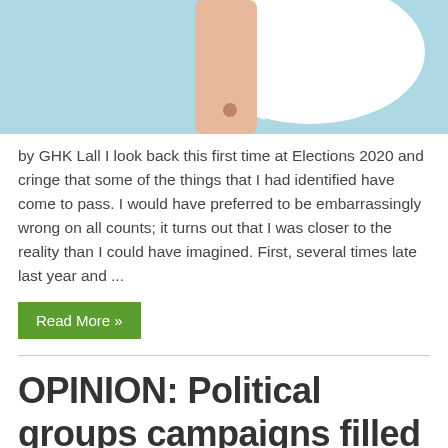[Figure (photo): A hand holding a speech bubble icon against a light blue background]
by GHK Lall I look back this first time at Elections 2020 and cringe that some of the things that I had identified have come to pass. I would have preferred to be embarrassingly wrong on all counts; it turns out that I was closer to the reality than I could have imagined. First, several times late last year and ...
Read More »
OPINION: Political groups campaigns filled with everything, except this one issue